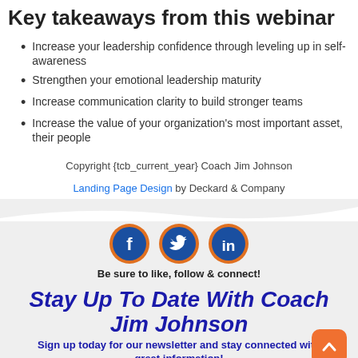Key takeaways from this webinar
Increase your leadership confidence through leveling up in self-awareness
Strengthen your emotional leadership maturity
Increase communication clarity to build stronger teams
Increase the value of your organization's most important asset, their people
Copyright {tcb_current_year} Coach Jim Johnson
Landing Page Design by Deckard & Company
[Figure (infographic): Social media icons for Facebook, Twitter, and LinkedIn with orange border rings on grey background]
Be sure to like, follow & connect!
Stay Up To Date With Coach Jim Johnson
Sign up today for our newsletter and stay connected with great information!